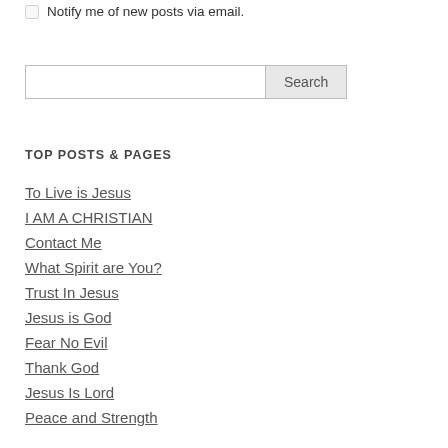Notify me of new posts via email.
Search
TOP POSTS & PAGES
To Live is Jesus
I AM A CHRISTIAN
Contact Me
What Spirit are You?
Trust In Jesus
Jesus is God
Fear No Evil
Thank God
Jesus Is Lord
Peace and Strength